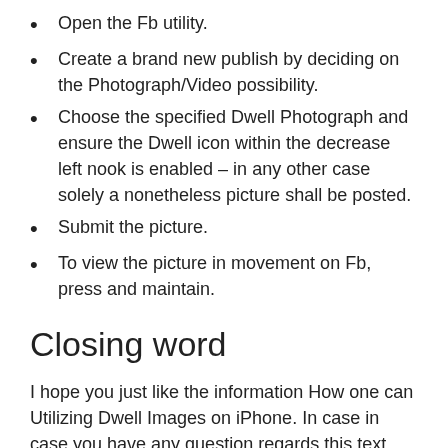Open the Fb utility.
Create a brand new publish by deciding on the Photograph/Video possibility.
Choose the specified Dwell Photograph and ensure the Dwell icon within the decrease left nook is enabled – in any other case solely a nonetheless picture shall be posted.
Submit the picture.
To view the picture in movement on Fb, press and maintain.
Closing word
I hope you just like the information How one can Utilizing Dwell Images on iPhone. In case in case you have any question regards this text you could